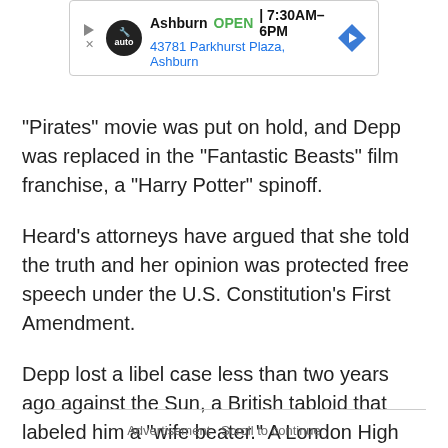[Figure (other): Advertisement banner for Ashburn auto dealership showing logo, open hours 7:30AM-6PM, address 43781 Parkhurst Plaza Ashburn, and a direction arrow diamond icon]
"Pirates" movie was put on hold, and Depp was replaced in the "Fantastic Beasts" film franchise, a "Harry Potter" spinoff.
Heard's attorneys have argued that she told the truth and her opinion was protected free speech under the U.S. Constitution's First Amendment.
Depp lost a libel case less than two years ago against the Sun, a British tabloid that labeled him a "wife beater." A London High Court judge ruled that he had repeatedly assaulted Heard.
Advertisement · Scroll to continue